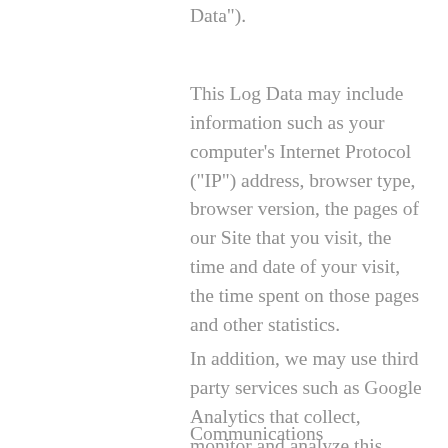Data").
This Log Data may include information such as your computer's Internet Protocol ("IP") address, browser type, browser version, the pages of our Site that you visit, the time and date of your visit, the time spent on those pages and other statistics.
In addition, we may use third party services such as Google Analytics that collect, monitor and analyze this information for marketing purposes.
Communications